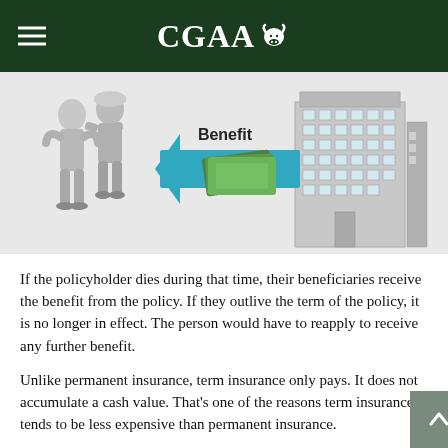CGAA
[Figure (illustration): Illustration showing two people (policyholders) on the left, a teal/blue arrow pointing left labeled 'Benefit' in the center, money (green bills) on the arrow, and a grey office building (insurance company) on the right with 'Company' label partially visible.]
If the policyholder dies during that time, their beneficiaries receive the benefit from the policy. If they outlive the term of the policy, it is no longer in effect. The person would have to reapply to receive any further benefit.
Unlike permanent insurance, term insurance only pays. It does not accumulate a cash value. That's one of the reasons term insurance tends to be less expensive than permanent insurance.